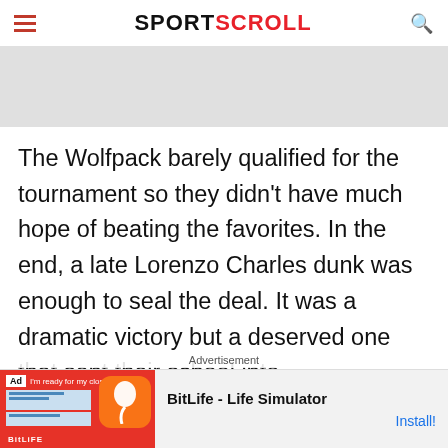SPORTSCROLL
[Figure (other): Gray advertisement banner placeholder area]
The Wolfpack barely qualified for the tournament so they didn't have much hope of beating the favorites. In the end, a late Lorenzo Charles dunk was enough to seal the deal. It was a dramatic victory but a deserved one that sent their school into
Advertisement
[Figure (other): BitLife - Life Simulator mobile app advertisement banner with red background, app icon, and Install! button]